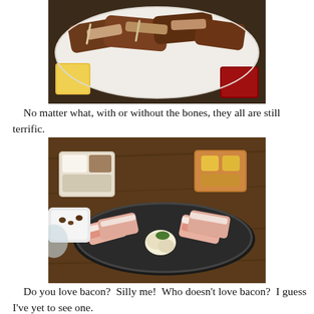[Figure (photo): Photo of grilled Korean short ribs (galbi) on a white plate with yellow side dishes and dipping sauce.]
No matter what, with or without the bones, they all are still terrific.
[Figure (photo): Photo of raw Korean pork belly slices (samgyeopsal) on a black round grill pan, with corn and side dishes in background on a wooden table.]
Do you love bacon?  Silly me!  Who doesn't love bacon?  I guess I've yet to see one.
So if you do, you will surely love the Korean Pork Belly as well.  Pork belly are cut Korean Style and have been